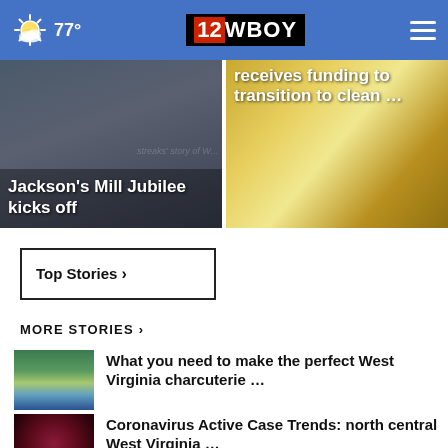77° | 12WBOY
[Figure (screenshot): Jackson's Mill Jubilee kicks off — news story card with dark background]
[Figure (screenshot): receives funding to transition to clean ... — news story card with golden background]
Top Stories ›
MORE STORIES ›
[Figure (photo): Charcuterie board thumbnail]
What you need to make the perfect West Virginia charcuterie …
[Figure (photo): Coronavirus red cells thumbnail]
Coronavirus Active Case Trends: north central West Virginia …
[Figure (photo): Jackson's Mill Jubilee video thumbnail with play button]
Jackson's Mill Jubilee kicks off